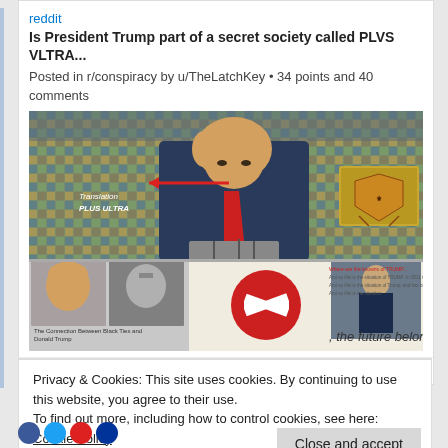reddit
Is President Trump part of a secret society called PLVS VLTRA...
Posted in r/conspiracy by u/TheLatchKey • 34 points and 40 comments
[Figure (screenshot): Composite image showing Trump at podium with mosaic tile background, red arrow annotation pointing left labeled 'Translation' and 'PLUS ULTRA', a heraldic crest in top right, bottom collage with Trump/Hitler comparison photo, red circle logo, figure at podium, and text 'the future belongs to us.']
😊 192  🔥 81  👍 52  ❤️ 38  🤔 24  🤯 10  🤩 6  💰 2
Privacy & Cookies: This site uses cookies. By continuing to use this website, you agree to their use.
To find out more, including how to control cookies, see here: Cookie Policy
Close and accept